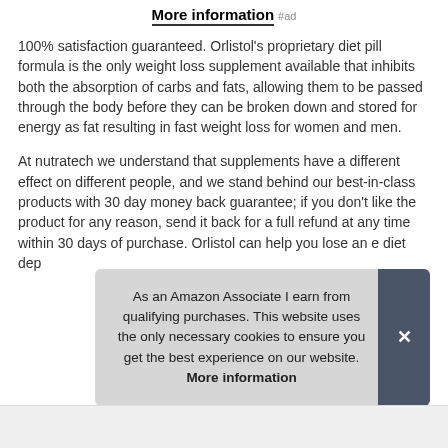More information #ad
100% satisfaction guaranteed. Orlistol's proprietary diet pill formula is the only weight loss supplement available that inhibits both the absorption of carbs and fats, allowing them to be passed through the body before they can be broken down and stored for energy as fat resulting in fast weight loss for women and men.
At nutratech we understand that supplements have a different effect on different people, and we stand behind our best-in-class products with 30 day money back guarantee; if you don't like the product for any reason, send it back for a full refund at any time within 30 days of purchase. Orlistol can help you lose an e diet dep
As an Amazon Associate I earn from qualifying purchases. This website uses the only necessary cookies to ensure you get the best experience on our website. More information